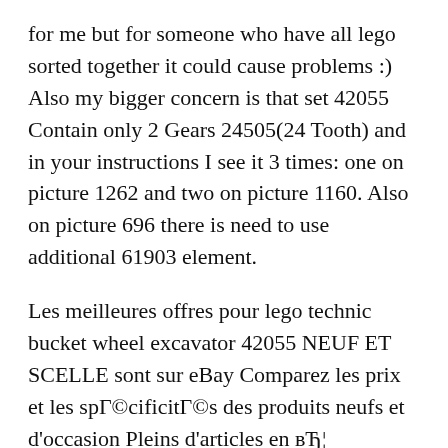for me but for someone who have all lego sorted together it could cause problems :) Also my bigger concern is that set 42055 Contain only 2 Gears 24505(24 Tooth) and in your instructions I see it 3 times: one on picture 1262 and two on picture 1160. Also on picture 696 there is need to use additional 61903 element.
Les meilleures offres pour lego technic bucket wheel excavator 42055 NEUF ET SCELLE sont sur eBay Comparez les prix et les spГ©cificitГ©s des produits neufs et d'occasion Pleins d'articles en вЂ¦ 31/07/2016В В· LEGO 42055 RC MOD Instructions & parts list л €кі н...НЬнГ¬л‹‰о 42055 н'Ђм⊡пн† RC л¬Гм„ мЎ°мŪ... к°нЬмЎ° л°Ц к°нЬмЎ° мкёмЛьнЛьёлцм...⊡ м⊡Гмґ Г If